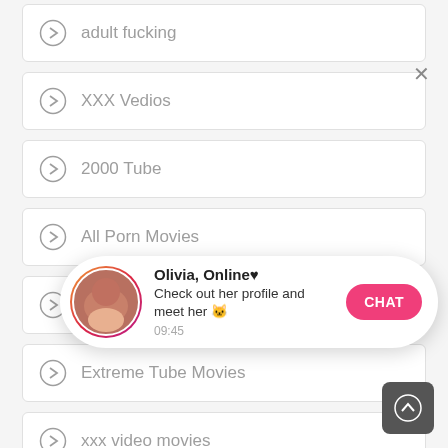adult fucking
XXX Vedios
2000 Tube
All Porn Movies
Tube ZIP
Extreme Tube Movies
xxx video movies
[Figure (screenshot): Chat notification popup: Olivia, Online with heart emoji, 'Check out her profile and meet her' with cat emoji, timestamp 09:45, pink CHAT button, close X button]
Spermy Porn